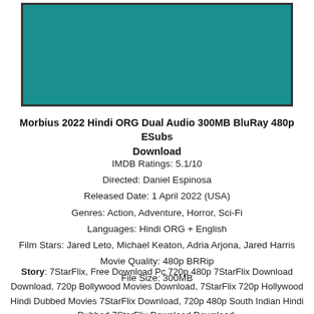[Figure (illustration): Teal/dark cyan colored rectangle with a dark border, likely a placeholder for a movie poster or thumbnail image.]
Morbius 2022 Hindi ORG Dual Audio 300MB BluRay 480p ESubs Download
IMDB Ratings: 5.1/10
Directed: Daniel Espinosa
Released Date: 1 April 2022 (USA)
Genres: Action, Adventure, Horror, Sci-Fi
Languages: Hindi ORG + English
Film Stars: Jared Leto, Michael Keaton, Adria Arjona, Jared Harris
Movie Quality: 480p BRRip
File Size: 300MB
Story: 7StarFlix, Free Download Pc 720p 480p 7StarFlix Download Download, 720p Bollywood Movies Download, 7StarFlix 720p Hollywood Hindi Dubbed Movies 7StarFlix Download, 720p 480p South Indian Hindi Dubbed 7StarFlix Download Download,